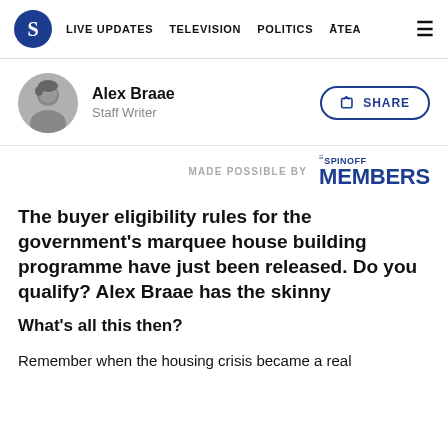S  LIVE UPDATES  TELEVISION  POLITICS  ĀTEA  ☰
[Figure (photo): Circular black and white headshot photo of Alex Braae]
Alex Braae
Staff Writer
SHARE
MADE POSSIBLE BY  THE SPINOFF MEMBERS
The buyer eligibility rules for the government's marquee house building programme have just been released. Do you qualify? Alex Braae has the skinny
What's all this then?
Remember when the housing crisis became a real